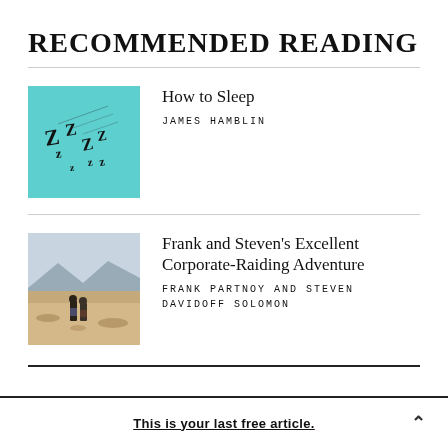RECOMMENDED READING
How to Sleep — JAMES HAMBLIN
Frank and Steven's Excellent Corporate-Raiding Adventure — FRANK PARTNOY AND STEVEN DAVIDOFF SOLOMON
This is your last free article.